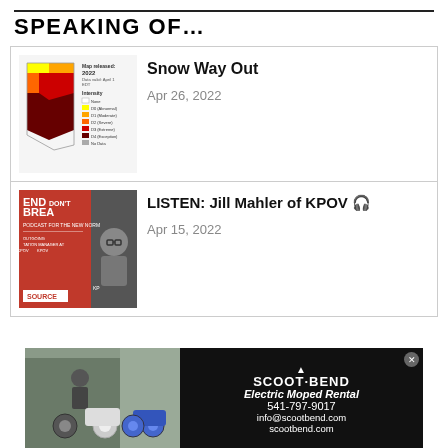SPEAKING OF…
Snow Way Out
Apr 26, 2022
[Figure (map): Oregon drought intensity map released 2022, data valid April 1 EDT, showing D0 Abnormal, D1 Moderate, D2 Severe, D3 Extreme, D4 Exceptional drought regions]
LISTEN: Jill Mahler of KPOV 🎧
Apr 15, 2022
[Figure (photo): Bend Don't Break podcast cover image for the new normal, featuring outgoing station manager at KPOV, Jill Mahler, presented by SOURCE]
[Figure (photo): Scoot Bend advertisement showing electric mopeds with a person standing next to them, and ad text: Scoot Bend, Electric Moped Rental, 541-797-9017, info@scootbend.com, scootbend.com]